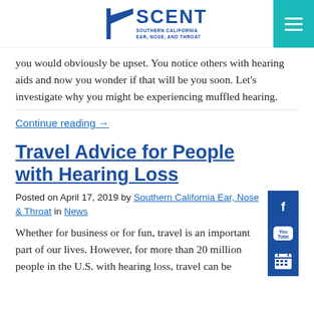SCENT Southern California Ear, Nose, and Throat
you would obviously be upset. You notice others with hearing aids and now you wonder if that will be you soon. Let's investigate why you might be experiencing muffled hearing.
Continue reading →
Travel Advice for People with Hearing Loss
Posted on April 17, 2019 by Southern California Ear, Nose & Throat in News
Whether for business or for fun, travel is an important part of our lives. However, for more than 20 million people in the U.S. with hearing loss, travel can be